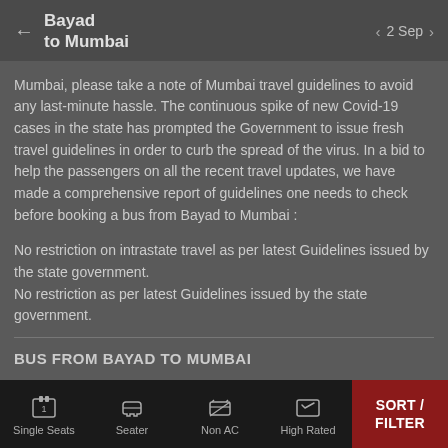Bayad to Mumbai | 2 Sep
Mumbai, please take a note of Mumbai travel guidelines to avoid any last-minute hassle. The continuous spike of new Covid-19 cases in the state has prompted the Government to issue fresh travel guidelines in order to curb the spread of the virus. In a bid to help the passengers on all the recent travel updates, we have made a comprehensive report of guidelines one needs to check before booking a bus from Bayad to Mumbai :
No restriction on intrastate travel as per latest Guidelines issued by the state government.
No restriction as per latest Guidelines issued by the state government.
BUS FROM BAYAD TO MUMBAI